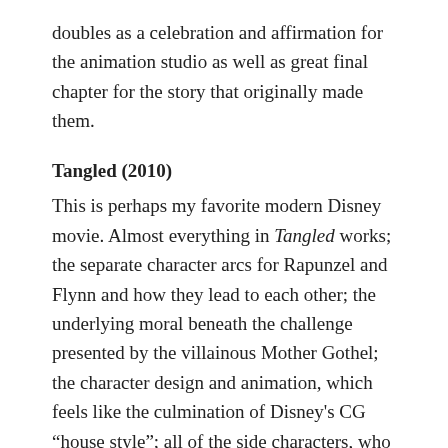doubles as a celebration and affirmation for the animation studio as well as great final chapter for the story that originally made them.
Tangled (2010)
This is perhaps my favorite modern Disney movie. Almost everything in Tangled works; the separate character arcs for Rapunzel and Flynn and how they lead to each other; the underlying moral beneath the challenge presented by the villainous Mother Gothel; the character design and animation, which feels like the culmination of Disney's CG “house style”; all of the side characters, who are delightful one and all; the music and songs, which carry the emotional heartbeat of the film and also happen to be some of the best in a Disney musical ever. Tangled is so good it actually makes me annoyed that Frozen became the blockbuster success it did. I’m not knocking Elsa and her